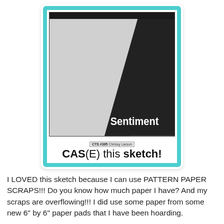[Figure (illustration): CAS(E) this sketch card #365 by Chrissy Larson. A card with a teal brushstroke border, containing a sketch layout with three diagonal sections in light gray, medium gray, and dark/black from left to right, with the word 'Sentiment' in white bold text at the bottom center. Below the sketch area: 'CTS #365 Chrissy Larson' label and 'CAS(E) this sketch!' title.]
I LOVED this sketch because I can use PATTERN PAPER SCRAPS!!! Do you know how much paper I have? And my scraps are overflowing!!! I did use some paper from some new 6" by 6" paper pads that I have been hoarding.